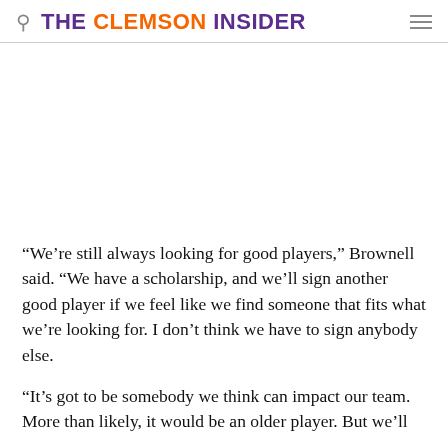THE CLEMSON INSIDER
“We’re still always looking for good players,” Brownell said. “We have a scholarship, and we’ll sign another good player if we feel like we find someone that fits what we’re looking for. I don’t think we have to sign anybody else.
“It’s got to be somebody we think can impact our team. More than likely, it would be an older player. But we’ll